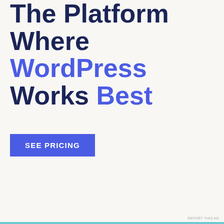The Platform Where WordPress Works Best
SEE PRICING
REPORT THIS AD